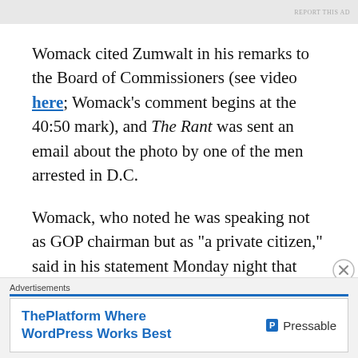Womack cited Zumwalt in his remarks to the Board of Commissioners (see video here; Womack's comment begins at the 40:50 mark), and The Rant was sent an email about the photo by one of the men arrested in D.C.
Womack, who noted he was speaking not as GOP chairman but as “a private citizen,” said in his statement Monday night that Kelly should resign if it was determined that he was “guilty” of “behavior” that is legal.
Advertisements
ThePlatform Where WordPress Works Best   Pressable